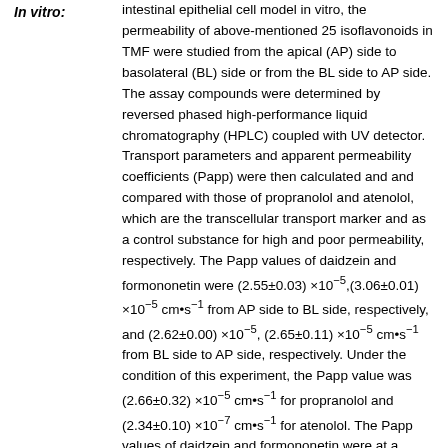In vitro: intestinal epithelial cell model in vitro, the permeability of above-mentioned 25 isoflavonoids in TMF were studied from the apical (AP) side to basolateral (BL) side or from the BL side to AP side. The assay compounds were determined by reversed phased high-performance liquid chromatography (HPLC) coupled with UV detector. Transport parameters and apparent permeability coefficients (Papp) were then calculated and and compared with those of propranolol and atenolol, which are the transcellular transport marker and as a control substance for high and poor permeability, respectively. The Papp values of daidzein and formononetin were (2.55±0.03) ×10⁻⁵,(3.06±0.01) ×10⁻⁵ cm•s⁻¹ from AP side to BL side, respectively, and (2.62±0.00) ×10⁻⁵, (2.65±0.11) ×10⁻⁵ cm•s⁻¹ from BL side to AP side, respectively. Under the condition of this experiment, the Papp value was (2.66±0.32) ×10⁻⁵ cm•s⁻¹ for propranolol and (2.34±0.10) ×10⁻⁷ cm•s⁻¹ for atenolol. The Papp values of daidzein and formononetin were at a same magnitude with those of propranolol. And the Papp values of other 23 isoflavonoid compounds were at a same magnitude with those of atenolol. On the other hand, the rats of Papp AP→BL/Papp BL→AP of daidzein and formononetin on the influx transport were 0.97 and 1.15, respectively.